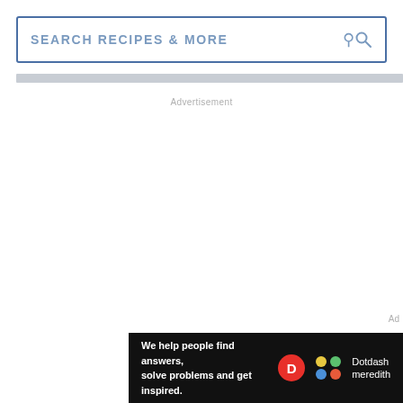SEARCH RECIPES & MORE
Advertisement
Ad
[Figure (infographic): Bottom banner advertisement for Dotdash Meredith with text: We help people find answers, solve problems and get inspired. Features Dotdash D logo in red circle and colorful dots logo next to Dotdash Meredith text.]